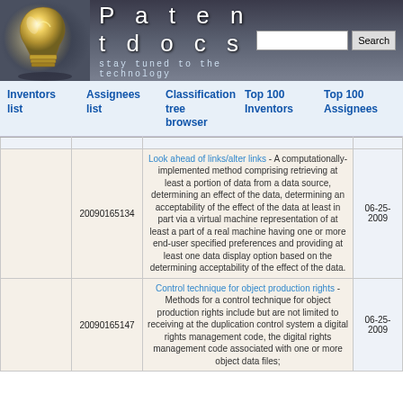[Figure (screenshot): Patentdocs website header with lightbulb logo, site title 'Patentdocs', tagline 'stay tuned to the technology', and a search box with Search button]
Inventors list | Assignees list | Classification tree browser | Top 100 Inventors | Top 100 Assignees
|  | Application Number | Title / Abstract | Date |
| --- | --- | --- | --- |
|  | 20090165134 | Look ahead of links/alter links - A computationally-implemented method comprising retrieving at least a portion of data from a data source, determining an effect of the data, determining an acceptability of the effect of the data at least in part via a virtual machine representation of at least a part of a real machine having one or more end-user specified preferences and providing at least one data display option based on the determining acceptability of the effect of the data. | 06-25-2009 |
|  | 20090165147 | Control technique for object production rights - Methods for a control technique for object production rights include but are not limited to receiving at the duplication control system a digital rights management code, the digital rights management code associated with one or more object data files; | 06-25-2009 |